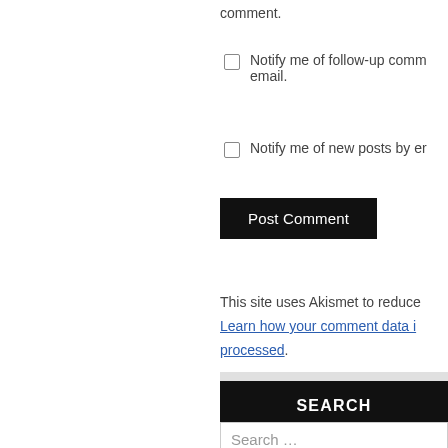comment.
Notify me of follow-up comments by email.
Notify me of new posts by email.
Post Comment
This site uses Akismet to reduce spam. Learn how your comment data is processed.
SEARCH
Search …